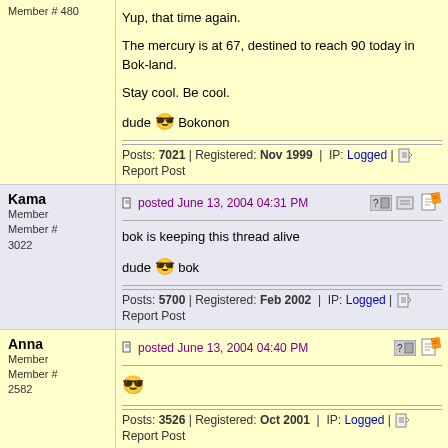Member # 480
Yup, that time again.

The mercury is at 67, destined to reach 90 today in Bok-land.

Stay cool. Be cool.

dude 😎 Bokonon
Posts: 7021 | Registered: Nov 1999 | IP: Logged | Report Post
Kama
Member
Member # 3022
posted June 13, 2004 04:31 PM
bok is keeping this thread alive

dude 😎 bok
Posts: 5700 | Registered: Feb 2002 | IP: Logged | Report Post
Anna
Member
Member # 2582
posted June 13, 2004 04:40 PM
😎
Posts: 3526 | Registered: Oct 2001 | IP: Logged | Report Post
Tonatiuh
Member
Member # 6052
posted June 20, 2004 12:57 AM
Peek hasnt posted on this thread in like a year look at the dates